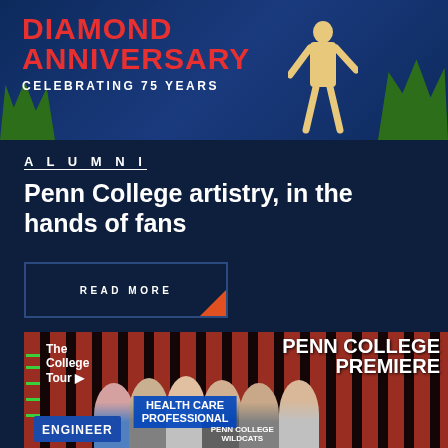[Figure (photo): Diamond Anniversary banner with athlete figure, text reads DIAMOND ANNIVERSARY CELEBRATING 75 YEARS on dark blue background with green grass]
ALUMNI
Penn College artistry, in the hands of fans
READ MORE
[Figure (photo): Penn College Premiere event photo showing group of smiling students/fans at a photo booth backdrop with red and black striped curtain background. Signs read: The College Tour, PENN COLLEGE PREMIERE, HEALTH CARE PROFESSIONAL, ENGINEER, PENN COLLEGE WILDCATS]